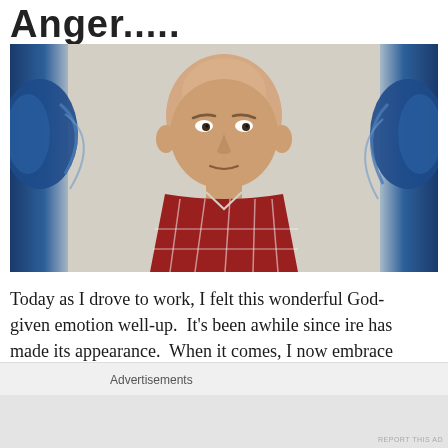Anger.....
[Figure (photo): Mugshot-style photo of a middle-aged bald man in a red and white plaid shirt, against a beige background, with blue logo/graphic elements on either side]
Today as I drove to work, I felt this wonderful God-given emotion well-up.  It's been awhile since ire has made its appearance.  When it comes, I now embrace it.  It motivates me to action and
Advertisements